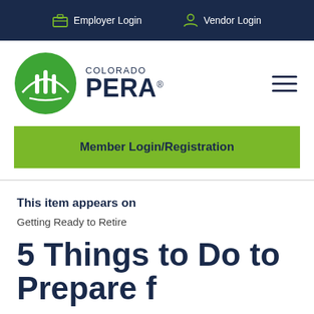Employer Login   Vendor Login
[Figure (logo): Colorado PERA logo with green oval emblem and text 'COLORADO PERA' with registered trademark symbol]
Member Login/Registration
This item appears on
Getting Ready to Retire
5 Things to Do to Prepare for